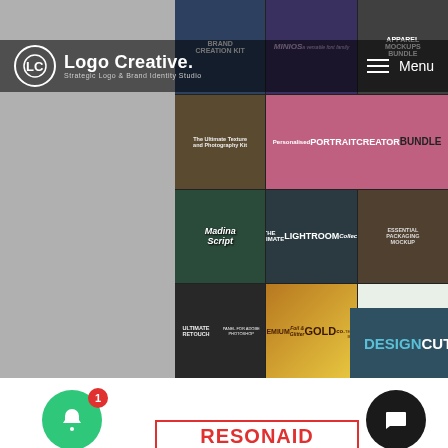[Figure (screenshot): Logo Creative website header with navigation showing hamburger menu and Menu label on right, with a collage banner of design product thumbnails including Madina Script, Lightroom Collection, Gold Glitter textures bundle, Watercolor design toolkit, Essential Packaging Mockup, Portrait Creator Bundle, and other design resources. Bottom bar shows DesignCuts branding with Browse Products link.]
[Figure (illustration): Green circular notification bell button with red badge showing number 1, and black circular chat/message button on the right side]
RESONAID